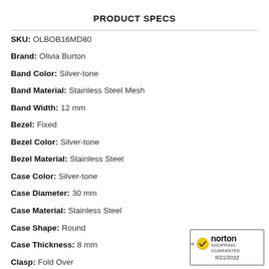PRODUCT SPECS
| Attribute | Value |
| --- | --- |
| SKU: | OLBOB16MD80 |
| Brand: | Olivia Burton |
| Band Color: | Silver-tone |
| Band Material: | Stainless Steel Mesh |
| Band Width: | 12 mm |
| Bezel: | Fixed |
| Bezel Color: | Silver-tone |
| Bezel Material: | Stainless Steel |
| Case Color: | Silver-tone |
| Case Diameter: | 30 mm |
| Case Material: | Stainless Steel |
| Case Shape: | Round |
| Case Thickness: | 8 mm |
| Clasp: | Fold Over |
[Figure (logo): Norton Shopping Guarantee badge with checkmark, dated 8/21/2022]